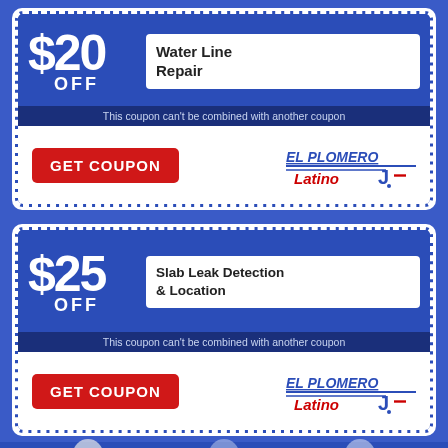[Figure (infographic): Coupon 1: $20 OFF Water Line Repair. Red GET COUPON button. El Plomero Latino logo. Disclaimer: This coupon can't be combined with another coupon.]
[Figure (infographic): Coupon 2: $25 OFF Slab Leak Detection & Location. Red GET COUPON button. El Plomero Latino logo. Disclaimer: This coupon can't be combined with another coupon.]